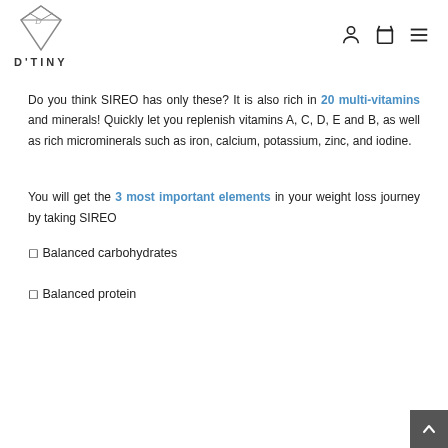D'TINY — logo and navigation icons
Do you think SIREO has only these? It is also rich in 20 multi-vitamins and minerals! Quickly let you replenish vitamins A, C, D, E and B, as well as rich microminerals such as iron, calcium, potassium, zinc, and iodine.
You will get the 3 most important elements in your weight loss journey by taking SIREO
✓ Balanced carbohydrates
✓ Balanced protein